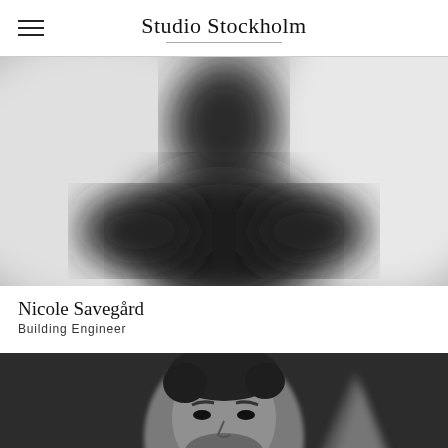Studio Stockholm
[Figure (photo): Black and white blurred silhouette of a person against a light background, portrait style]
Nicole Savegård
Building Engineer
[Figure (photo): Black and white portrait photo of a smiling man with dark curly hair and beard, against a dark background with a bright triangular light shape]